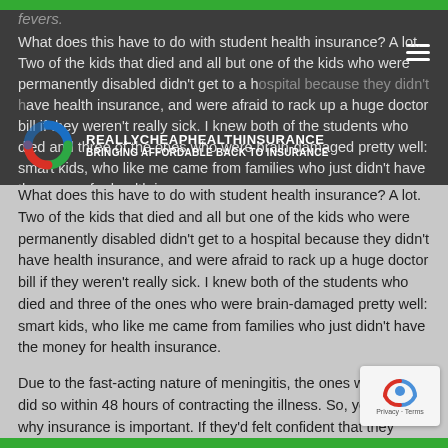fevers.
What does this have to do with student health insurance? A lot. Two of the kids that died and all but one of the kids who were permanently disabled didn't get to a hospital because they didn't have health insurance, and were afraid to rack up a huge doctor bill if they weren't really sick. I knew both of the students who died and three of the ones who were brain-damaged pretty well: smart kids, who like me came from families who just didn't have the money for health insurance.
[Figure (logo): REALLYCHEAPHEALTHINSURANCE logo with colorful spiral and tagline BRINGING AFFORDABLE BACK TO INSURANCE]
Due to the fast-acting nature of meningitis, the ones who died did so within 48 hours of contracting the illness. So, you can see why insurance is important. If they'd felt confident that they would be able to afford the bill, they would've gone and gotten help immediately. Fear of the financial impact of a doctor's visit or hospital stay kept them from doing what was necessary, and several young people who had a lot to give to the world are now gone. For a very, very stupid reason.